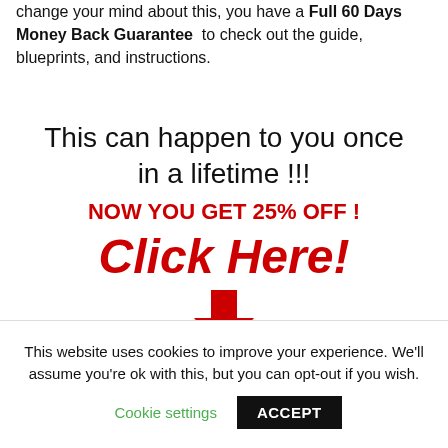change your mind about this, you have a Full 60 Days Money Back Guarantee to check out the guide, blueprints, and instructions.
This can happen to you once in a lifetime !!!
NOW YOU GET 25% OFF !
Click Here!
[Figure (illustration): Red downward-pointing arrow icon]
This website uses cookies to improve your experience. We'll assume you're ok with this, but you can opt-out if you wish.
Cookie settings   ACCEPT